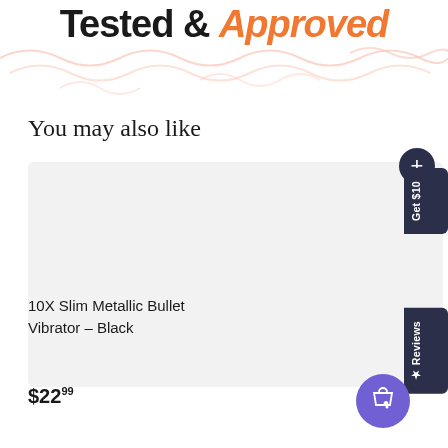Tested & Approved
You may also like
[Figure (screenshot): Product card for 10X Slim Metallic Bullet Vibrator - Black, showing gray placeholder image area with a + add button]
10X Slim Metallic Bullet Vibrator - Black
$22.99
[Figure (screenshot): Product card for 10X Slim Metallic Bullet Vibrator - Purple, showing gray placeholder image area with a + add button]
10X Slim Metallic Bullet Vibrator - Purple
$22.99